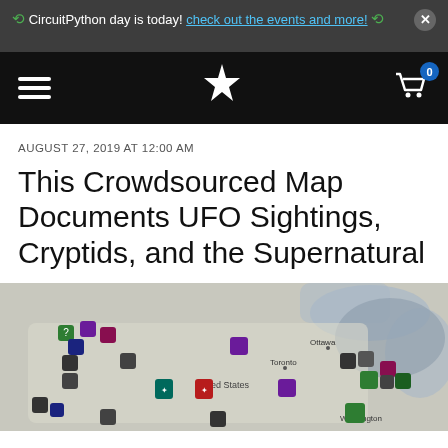CircuitPython day is today! check out the events and more!
[Figure (screenshot): Navigation bar with hamburger menu, star/flower logo, and shopping cart icon with badge showing 0]
AUGUST 27, 2019 AT 12:00 AM
This Crowdsourced Map Documents UFO Sightings, Cryptids, and the Supernatural
[Figure (map): Crowdsourced map of North America showing various supernatural sighting markers (UFOs, cryptids) across the United States and Canada, with city labels including Ottawa, Toronto, Washington]